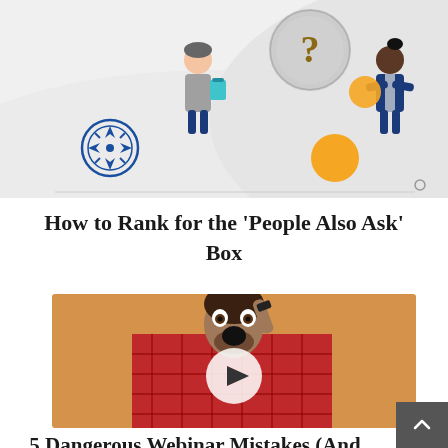[Figure (illustration): Illustration showing two people (one holding a clipboard, one in a suit) with question marks, a magnifying glass icon, a compass rose, and orange circles on a light gray background]
How to Rank for the 'People Also Ask' Box
[Figure (photo): Photo of a man in a red plaid shirt with a shocked/surprised expression, hand on head, against an orange background, with a circular play button overlay]
5 Dangerous Webinar Mistakes (And How to Avoid Them)